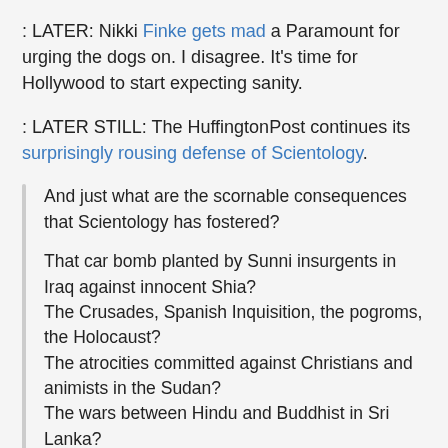: LATER: Nikki Finke gets mad a Paramount for urging the dogs on. I disagree. It’s time for Hollywood to start expecting sanity.
: LATER STILL: The HuffingtonPost continues its surprisingly rousing defense of Scientology.
And just what are the scornable consequences that Scientology has fostered?

That car bomb planted by Sunni insurgents in Iraq against innocent Shia?
The Crusades, Spanish Inquisition, the pogroms, the Holocaust?
The atrocities committed against Christians and animists in the Sudan?
The wars between Hindu and Buddhist in Sri Lanka?
The several decades of religious wars in